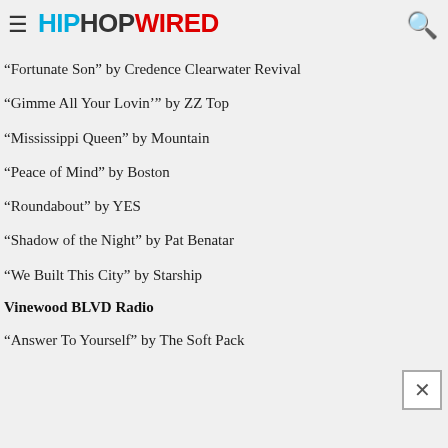HIPHOPWIRED
“Fortunate Son” by Credence Clearwater Revival
“Gimme All Your Lovin’” by ZZ Top
“Mississippi Queen” by Mountain
“Peace of Mind” by Boston
“Roundabout” by YES
“Shadow of the Night” by Pat Benatar
“We Built This City” by Starship
Vinewood BLVD Radio
“Answer To Yourself” by The Soft Pack